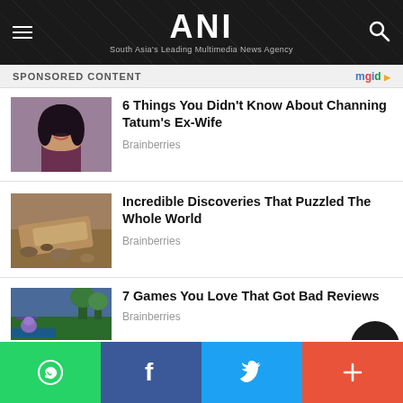ANI - South Asia's Leading Multimedia News Agency
SPONSORED CONTENT
6 Things You Didn't Know About Channing Tatum's Ex-Wife
Brainberries
Incredible Discoveries That Puzzled The Whole World
Brainberries
7 Games You Love That Got Bad Reviews
Brainberries
WhatsApp | Facebook | Twitter | More